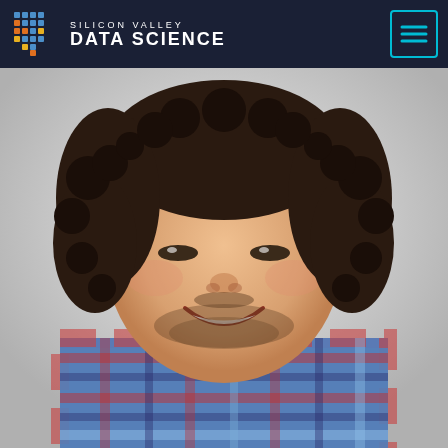Silicon Valley Data Science
[Figure (photo): Professional headshot of a smiling man with curly dark hair and a beard, wearing a blue and red plaid shirt, against a light gray background.]